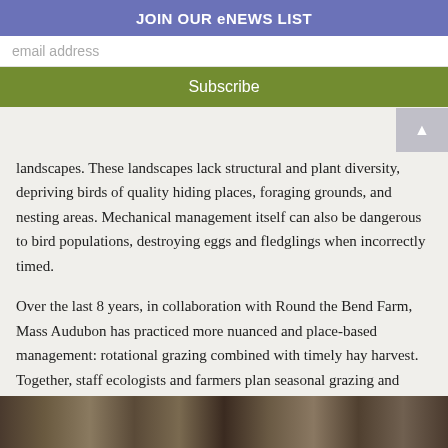JOIN OUR eNEWS LIST
email address
Subscribe
landscapes. These landscapes lack structural and plant diversity, depriving birds of quality hiding places, foraging grounds, and nesting areas. Mechanical management itself can also be dangerous to bird populations, destroying eggs and fledglings when incorrectly timed.
Over the last 8 years, in collaboration with Round the Bend Farm, Mass Audubon has practiced more nuanced and place-based management: rotational grazing combined with timely hay harvest. Together, staff ecologists and farmers plan seasonal grazing and haying patterns that will be most conducive to conservation goals, mainly bird nesting and fledging. This solution is unique and quite beneficial to wildlife and the environment.
[Figure (photo): Photo strip at the bottom of the page showing wildlife or nature scene]